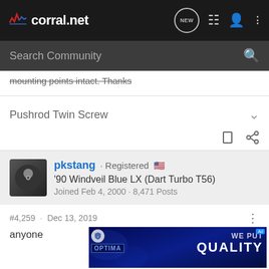corral.net — navigation bar with NEW, list, user, and more icons
Search Community
mounting points intact. Thanks
Pushrod Twin Screw
pkstang · Registered 🇺🇸
'90 Windveil Blue LX (Dart Turbo T56)
Joined Feb 4, 2000 · 8,471 Posts
#4,259 · Dec 13, 2019
anyone ... driver's
[Figure (screenshot): Optima battery advertisement banner: blue background with OPTIMA logo and 'WE PUT QUALITY' text]